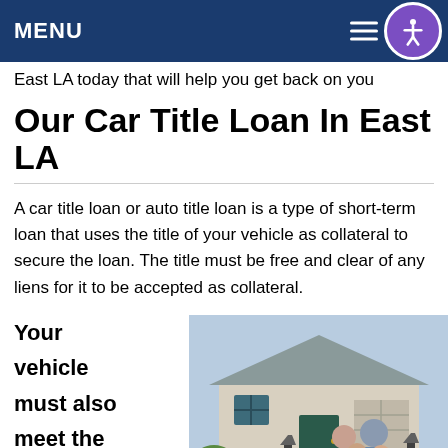MENU
East LA today that will help you get back on you...
Our Car Title Loan In East LA
A car title loan or auto title loan is a type of short-term loan that uses the title of your vehicle as collateral to secure the loan. The title must be free and clear of any liens for it to be accepted as collateral.
Your vehicle must also meet the minimum
[Figure (photo): Family of four (parents and two children) smiling in front of a house]